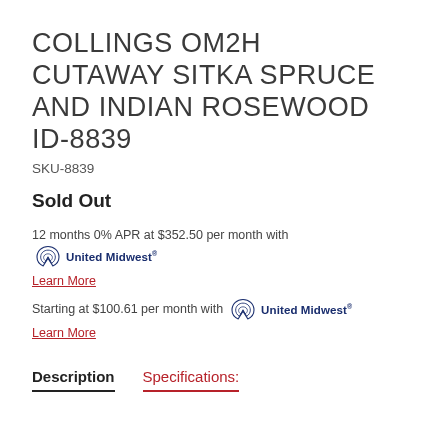COLLINGS OM2H CUTAWAY SITKA SPRUCE AND INDIAN ROSEWOOD ID-8839
SKU-8839
Sold Out
12 months 0% APR at $352.50 per month with United Midwest
Learn More
Starting at $100.61 per month with United Midwest
Learn More
Description    Specifications: